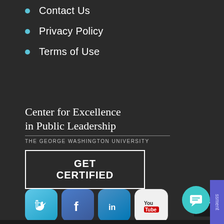Contact Us
Privacy Policy
Terms of Use
Center for Excellence in Public Leadership
THE GEORGE WASHINGTON UNIVERSITY
GET CERTIFIED
[Figure (logo): Social media icons: Twitter, Facebook, LinkedIn, YouTube]
[Figure (illustration): Teal chat bubble icon in bottom right corner]